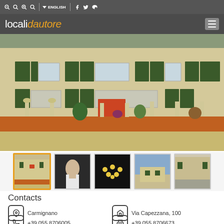localidautore — ENGLISH
[Figure (photo): Exterior of a historic Italian villa with stone statues along a terracotta-paved path, green shuttered windows, and lush plants]
[Figure (photo): Thumbnail strip: villa exterior (selected), person with drink, chandelier/light installation, building exterior, building facade]
Contacts
Carmignano
Via Capezzana, 100
+39 055 8706005
+39 055 8706673